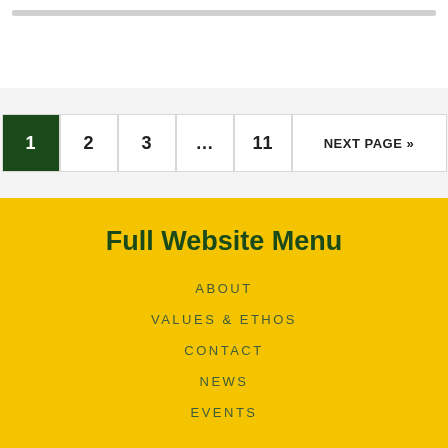1  2  3  ...  11  NEXT PAGE »
Full Website Menu
ABOUT
VALUES & ETHOS
CONTACT
NEWS
EVENTS